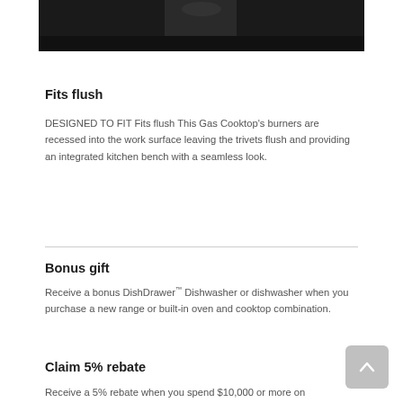[Figure (photo): Dark photograph of a gas cooktop burner area, cropped — only the bottom portion visible at top of page]
Fits flush
DESIGNED TO FIT Fits flush This Gas Cooktop's burners are recessed into the work surface leaving the trivets flush and providing an integrated kitchen bench with a seamless look.
Bonus gift
Receive a bonus DishDrawer™ Dishwasher or dishwasher when you purchase a new range or built-in oven and cooktop combination.
Claim 5% rebate
Receive a 5% rebate when you spend $10,000 or more on